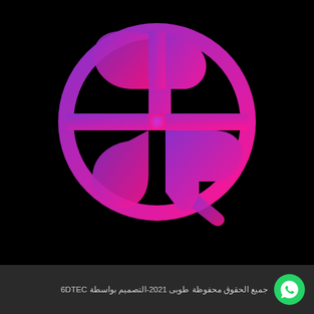[Figure (logo): Arabic calligraphic logo with globe/cross design in purple-to-pink gradient on black background]
جميع الحقوق محفوظة طوبى 2021-التصميم بواسطة 6DTEC